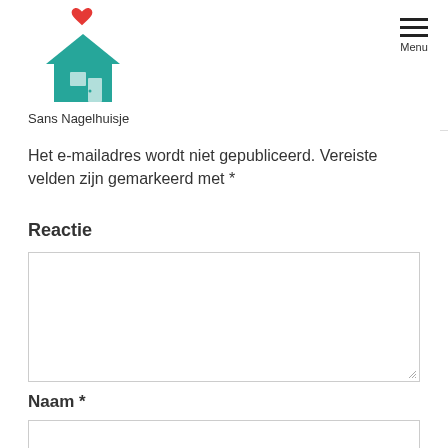[Figure (logo): Sans Nagelhuisje website logo: teal house with red heart above it, and site name 'Sans Nagelhuisje' below]
Het e-mailadres wordt niet gepubliceerd. Vereiste velden zijn gemarkeerd met *
Reactie
[Figure (screenshot): Large textarea input field for comment/reactie]
Naam *
[Figure (screenshot): Text input field for Naam (name)]